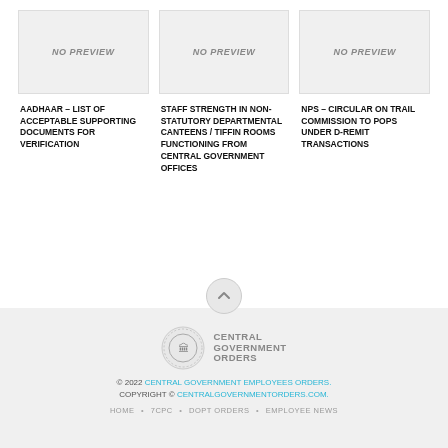[Figure (screenshot): No preview placeholder box - first card]
[Figure (screenshot): No preview placeholder box - second card]
[Figure (screenshot): No preview placeholder box - third card]
AADHAAR – LIST OF ACCEPTABLE SUPPORTING DOCUMENTS FOR VERIFICATION
STAFF STRENGTH IN NON-STATUTORY DEPARTMENTAL CANTEENS / TIFFIN ROOMS FUNCTIONING FROM CENTRAL GOVERNMENT OFFICES
NPS – CIRCULAR ON TRAIL COMMISSION TO POPS UNDER D-REMIT TRANSACTIONS
[Figure (logo): Central Government Orders logo with emblem]
© 2022 CENTRAL GOVERNMENT EMPLOYEES ORDERS. COPYRIGHT © CENTRALGOVERNMENTORDERS.COM.
HOME   7CPC   DOPT ORDERS   EMPLOYEE NEWS